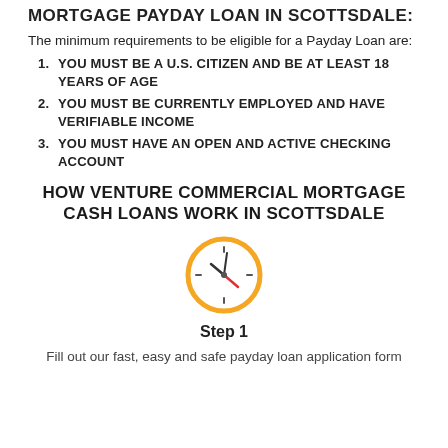MORTGAGE PAYDAY LOAN IN SCOTTSDALE:
The minimum requirements to be eligible for a Payday Loan are:
YOU MUST BE A U.S. CITIZEN AND BE AT LEAST 18 YEARS OF AGE
YOU MUST BE CURRENTLY EMPLOYED AND HAVE VERIFIABLE INCOME
YOU MUST HAVE AN OPEN AND ACTIVE CHECKING ACCOUNT
HOW VENTURE COMMERCIAL MORTGAGE CASH LOANS WORK IN SCOTTSDALE
[Figure (illustration): Clock icon with orange circular border, black clock hands, and a red/orange checkmark hand]
Step 1
Fill out our fast, easy and safe payday loan application form